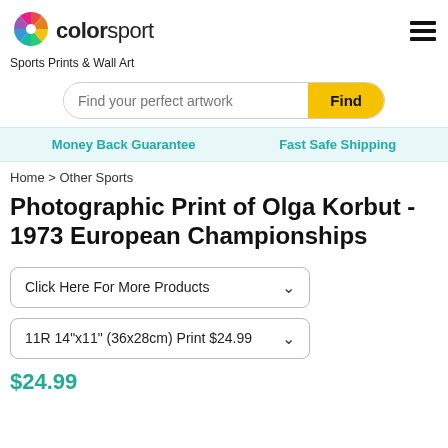[Figure (logo): Colorsport logo with colorful pinwheel icon and text 'colorsport']
Sports Prints & Wall Art
Find your perfect artwork
Money Back Guarantee    Fast Safe Shipping
Home > Other Sports
Photographic Print of Olga Korbut - 1973 European Championships
Click Here For More Products
11R 14"x11" (36x28cm) Print $24.99
$24.99